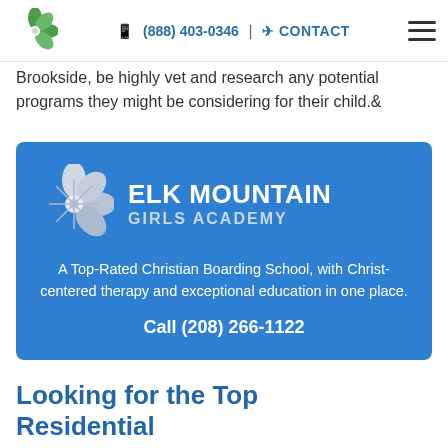(888) 403-0346 | CONTACT
Brookside, be highly vet and research any potential programs they might be considering for their child.&
[Figure (infographic): Elk Mountain Girls Academy advertisement banner on blue background with flower logo, title 'ELK MOUNTAIN GIRLS ACADEMY', tagline 'A Top-Rated Christian Boarding School, with Christ-centered therapy and exceptional education in one place.', and call to action 'Call (208) 266-1122']
Looking for the Top Residential